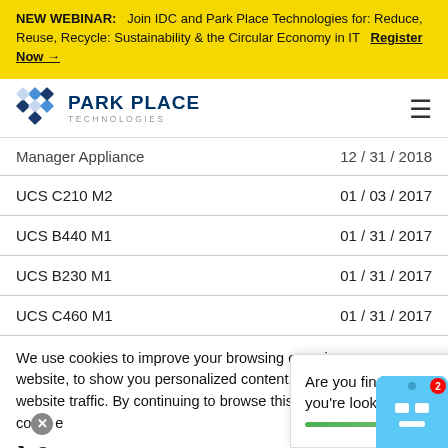NEW WEBINAR: Join IDC and Park Place Technologies for: Reduce, Reuse, Recycle: Sustainability & the Circular Economy in IT  Register Now →
[Figure (logo): Park Place Technologies logo with blue geometric icon and text PARK PLACE TECHNOLOGIES]
| Product | Date |
| --- | --- |
| Manager Appliance | 12 / 31 / 2018 |
| UCS C210 M2 | 01 / 03 / 2017 |
| UCS B440 M1 | 01 / 31 / 2017 |
| UCS B230 M1 | 01 / 31 / 2017 |
| UCS C460 M1 | 01 / 31 / 2017 |
We use cookies to improve your browsing experience on our website, to show you personalized content, and to analyze our website traffic. By continuing to browse this site, you're providing co...
Are you finding what you're looking for?